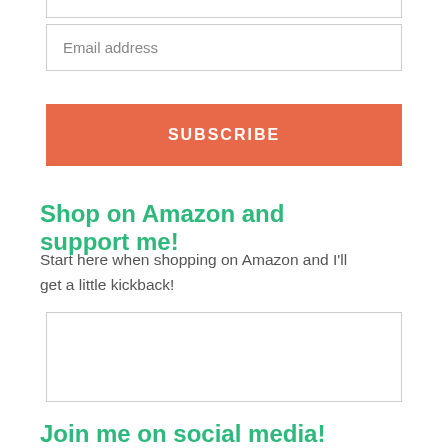[Figure (other): Empty input box (top, partially cropped)]
[Figure (other): Email address input field with placeholder text 'Email address']
[Figure (other): Orange SUBSCRIBE button]
Shop on Amazon and support me!
Start here when shopping on Amazon and I'll get a little kickback!
[Figure (other): Empty bordered box (likely an image/ad placeholder)]
Join me on social media!